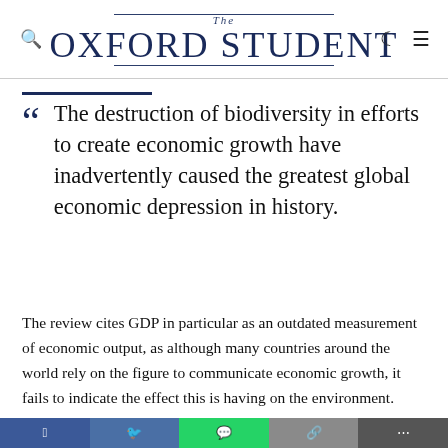The Oxford Student
The destruction of biodiversity in efforts to create economic growth have inadvertently caused the greatest global economic depression in history.
The review cites GDP in particular as an outdated measurement of economic output, as although many countries around the world rely on the figure to communicate economic growth, it fails to indicate the effect this is having on the environment. Continuing to rely on metrics designed decades ago may paint an unrealistic picture of what growth opportunities are sustainably viable, as Dasgupta warns: “Our demands far exceed nature’s capacity to